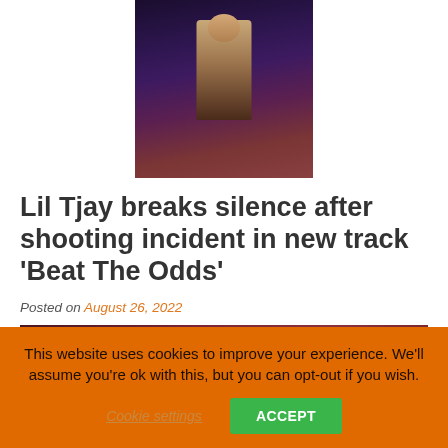[Figure (photo): Top portion of a photo showing a person wearing a chain necklace and dark purple/blue outfit against a dark background]
Lil Tjay breaks silence after shooting incident in new track ‘Beat The Odds’
Posted on August 26, 2022
[Figure (photo): Photo of Lil Tjay smiling, with purple-tinted dreadlocks, wearing a chain, photographed against a dark reddish background]
This website uses cookies to improve your experience. We'll assume you're ok with this, but you can opt-out if you wish.